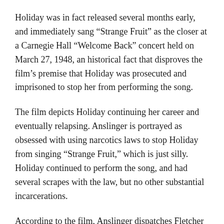Holiday was in fact released several months early, and immediately sang “Strange Fruit” as the closer at a Carnegie Hall “Welcome Back” concert held on March 27, 1948, an historical fact that disproves the film’s premise that Holiday was prosecuted and imprisoned to stop her from performing the song.
The film depicts Holiday continuing her career and eventually relapsing. Anslinger is portrayed as obsessed with using narcotics laws to stop Holiday from singing “Strange Fruit,” which is just silly. Holiday continued to perform the song, and had several scrapes with the law, but no other substantial incarcerations.
According to the film, Anslinger dispatches Fletcher again to investigate and arrest Holiday. Despite knowing he was responsible for her earlier jailing, Holiday welcomes Fletcher into her inner circle. They inject heroin together.